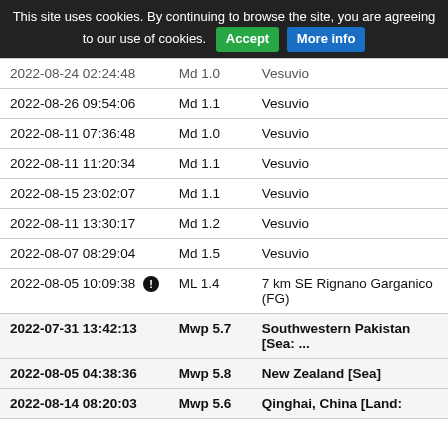This site uses cookies. By continuing to browse the site, you are agreeing to our use of cookies. Accept | More info
| Date/Time | Magnitude | Location |
| --- | --- | --- |
| 2022-08-24 02:24:48 | Md 1.0 | Vesuvio |
| 2022-08-26 09:54:06 | Md 1.1 | Vesuvio |
| 2022-08-11 07:36:48 | Md 1.0 | Vesuvio |
| 2022-08-11 11:20:34 | Md 1.1 | Vesuvio |
| 2022-08-15 23:02:07 | Md 1.1 | Vesuvio |
| 2022-08-11 13:30:17 | Md 1.2 | Vesuvio |
| 2022-08-07 08:29:04 | Md 1.5 | Vesuvio |
| 2022-08-05 10:09:38 ! | ML 1.4 | 7 km SE Rignano Garganico (FG) |
| 2022-07-31 13:42:13 | Mwp 5.7 | Southwestern Pakistan [Sea: ... |
| 2022-08-05 04:38:36 | Mwp 5.8 | New Zealand [Sea] |
| 2022-08-14 08:20:03 | Mwp 5.6 | Qinghai, China [Land: |